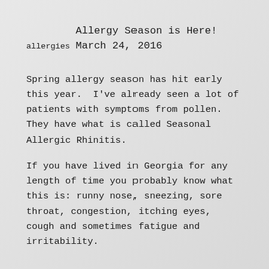allergies
Allergy Season is Here!
March 24, 2016
Spring allergy season has hit early this year.  I've already seen a lot of patients with symptoms from pollen.  They have what is called Seasonal Allergic Rhinitis.
If you have lived in Georgia for any length of time you probably know what this is: runny nose, sneezing, sore throat, congestion, itching eyes, cough and sometimes fatigue and irritability.